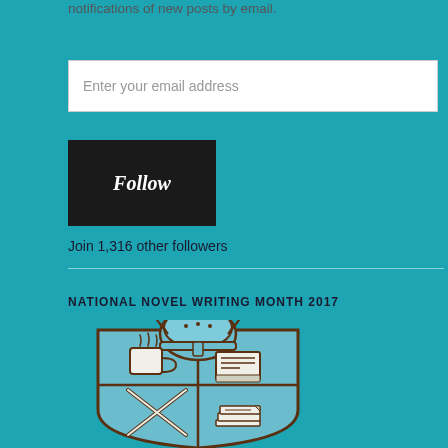notifications of new posts by email.
Enter your email address
Follow
Join 1,316 other followers
NATIONAL NOVEL WRITING MONTH 2017
[Figure (logo): NaNoWriMo 2017 badge/logo showing a heraldic shield with a Viking helmet on top. The shield is divided into four quadrants: top-left shows a steaming coffee mug, top-right shows a laptop/typewriter, bottom-left shows crossed pens/pencils, bottom-right shows a stack of papers. The shield and helmet are drawn in light blue and brown/dark brown outline style.]